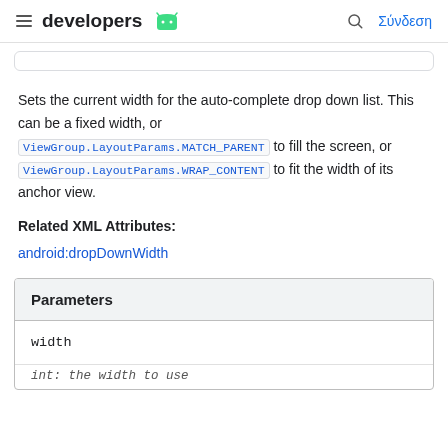developers | Σύνδεση
Sets the current width for the auto-complete drop down list. This can be a fixed width, or ViewGroup.LayoutParams.MATCH_PARENT to fill the screen, or ViewGroup.LayoutParams.WRAP_CONTENT to fit the width of its anchor view.
Related XML Attributes:
android:dropDownWidth
| Parameters |
| --- |
| width |
| int: the width to use |